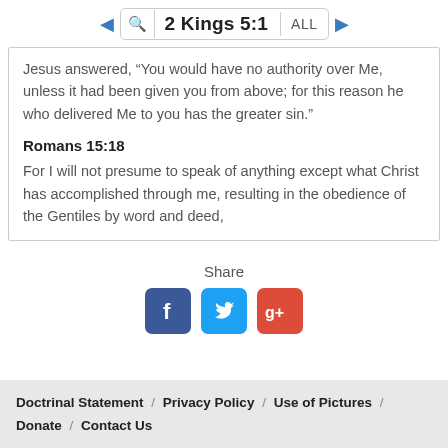2 Kings 5:1 ALL
Jesus answered, “You would have no authority over Me, unless it had been given you from above; for this reason he who delivered Me to you has the greater sin.”
Romans 15:18
For I will not presume to speak of anything except what Christ has accomplished through me, resulting in the obedience of the Gentiles by word and deed,
[Figure (infographic): Share section with Facebook, Twitter, and Google+ social media icon buttons]
Doctrinal Statement / Privacy Policy / Use of Pictures / Donate / Contact Us